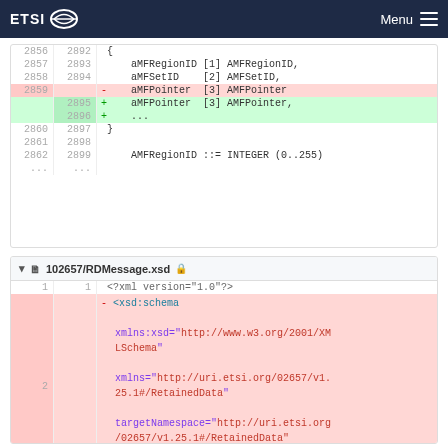ETSI — Menu
[Figure (screenshot): Code diff panel showing ASN.1 lines 2856-2862 vs 2892-2899 with additions and deletions for AMFPointer and ellipsis]
[Figure (screenshot): Code diff panel for 102657/RDMessage.xsd showing XML schema declaration with xsd:schema opening tag and xmlns attributes]